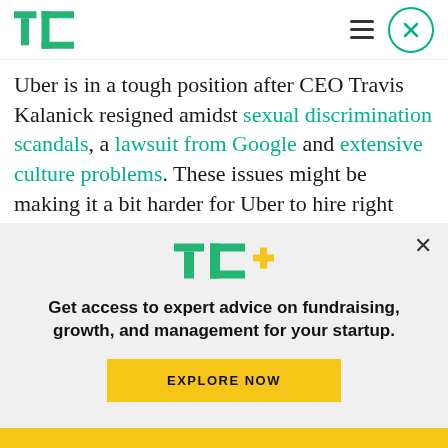TechCrunch
Uber is in a tough position after CEO Travis Kalanick resigned amidst sexual discrimination scandals, a lawsuit from Google and extensive culture problems. These issues might be making it a bit harder for Uber to hire right now in the competitive Silicon Valley job market. Acqui-hiring
[Figure (logo): TechCrunch TC+ logo with green TC letters and gold plus sign]
Get access to expert advice on fundraising, growth, and management for your startup.
EXPLORE NOW